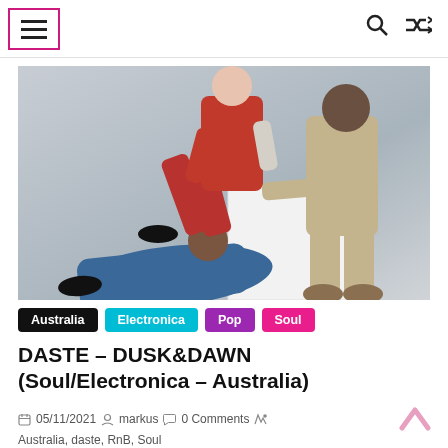≡  🔍  ⇄
[Figure (photo): Three people posing against a grey background. One person in a red jumpsuit sits on top of a white cube, one person in a khaki/beige jumpsuit sits beside it, and one person in blue scrubs/clothes reclines on the floor in the foreground.]
Australia  Electronica  Pop  Soul
DASTE – DUSK&DAWN (Soul/Electronica – Australia)
05/11/2021  markus  0 Comments  Australia, daste, RnB, Soul